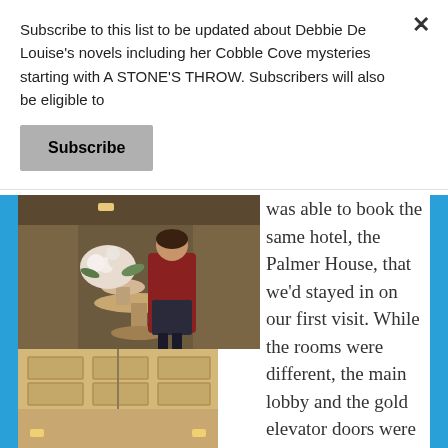Subscribe to this list to be updated about Debbie De Louise's novels including her Cobble Cove mysteries starting with A STONE'S THROW. Subscribers will also be eligible to
Subscribe
[Figure (photo): Woman in red top standing next to a flower arrangement on a pedestal table in a hotel lobby]
[Figure (photo): Hotel lobby interior with ornate ceiling, chandelier, and a statue]
was able to book the same hotel, the Palmer House, that we'd stayed in on our first visit. While the rooms were different, the main lobby and the gold elevator doors were the same.